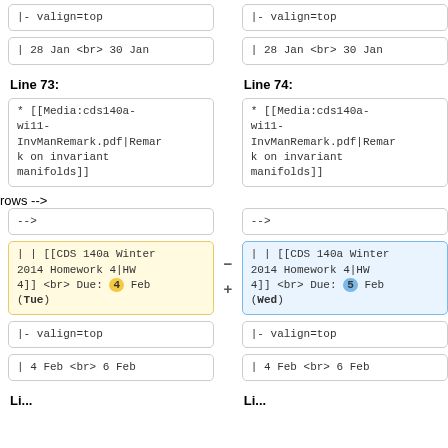|- valign=top
|- valign=top
| 28 Jan <br> 30 Jan
| 28 Jan <br> 30 Jan
Line 73:
Line 74:
* [[Media:cds140a-wi11-InvManRemark.pdf|Remark on invariant manifolds]]
* [[Media:cds140a-wi11-InvManRemark.pdf|Remark on invariant manifolds]]
-->
-->
| | [[CDS 140a Winter 2014 Homework 4|HW 4]] <br> Due: 4 Feb (Tue)
| | [[CDS 140a Winter 2014 Homework 4|HW 4]] <br> Due: 5 Feb (Wed)
|- valign=top
|- valign=top
| 4 Feb <br> 6 Feb
| 4 Feb <br> 6 Feb